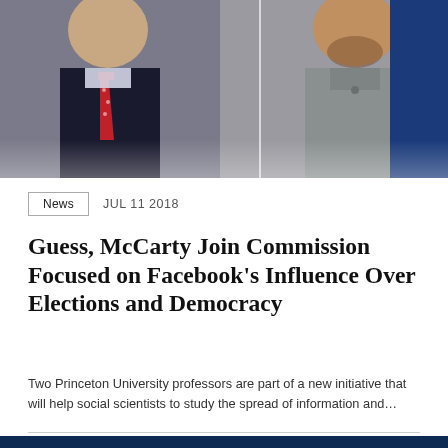[Figure (photo): Two professors photographed from the chest up: left photo shows a man in a dark suit with a red patterned tie; center photo shows a man in a grey shirt with a beard; right edge shows a dark blue background panel.]
News   JUL 11 2018
Guess, McCarty Join Commission Focused on Facebook’s Influence Over Elections and Democracy
Two Princeton University professors are part of a new initiative that will help social scientists to study the spread of information and…
[Figure (illustration): Dark navy blue image showing a circuit board pattern with light blue lines and nodes, featuring a white building/capitol silhouette in the center.]